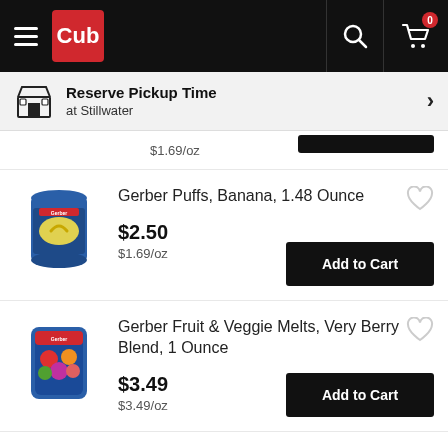Cub — Reserve Pickup Time at Stillwater
$1.69/oz — Add to Cart (partial row)
Gerber Puffs, Banana, 1.48 Ounce
$2.50
$1.69/oz
Add to Cart
Gerber Fruit & Veggie Melts, Very Berry Blend, 1 Ounce
$3.49
$3.49/oz
Add to Cart